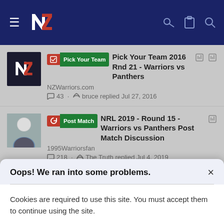NZ Warriors navigation header with hamburger menu, NZ logo, key icon, clipboard icon, search icon
Pick Your Team | Pick Your Team 2016 Rnd 21 - Warriors vs Panthers
NZWarriors.com
43 · bruce replied Jul 27, 2016
Post Match | NRL 2019 - Round 15 - Warriors vs Panthers Post Match Discussion
1995Warriorsfan
218 · The Truth replied Jul 4, 2019
Post Match | NRL 2016 - Round 10 - Panthers vs Warriors Post Match Discussion
Oops! We ran into some problems.
Cookies are required to use this site. You must accept them to continue using the site.